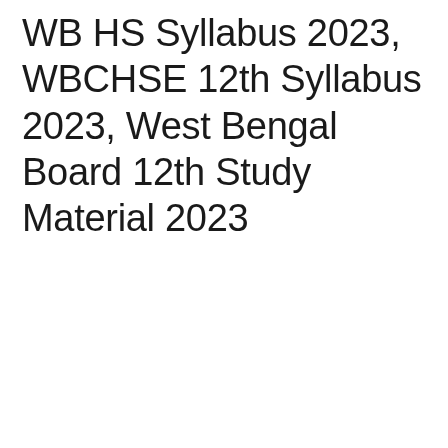WB HS Syllabus 2023, WBCHSE 12th Syllabus 2023, West Bengal Board 12th Study Material 2023